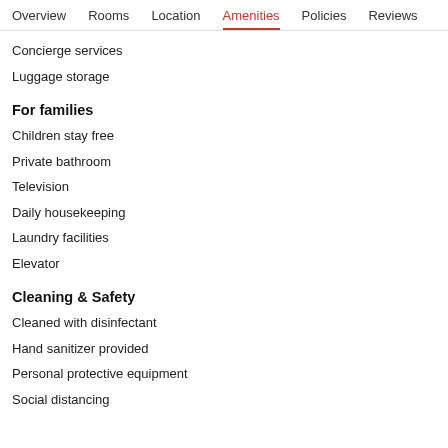Overview  Rooms  Location  Amenities  Policies  Reviews
Concierge services
Luggage storage
For families
Children stay free
Private bathroom
Television
Daily housekeeping
Laundry facilities
Elevator
Cleaning & Safety
Cleaned with disinfectant
Hand sanitizer provided
Personal protective equipment
Social distancing